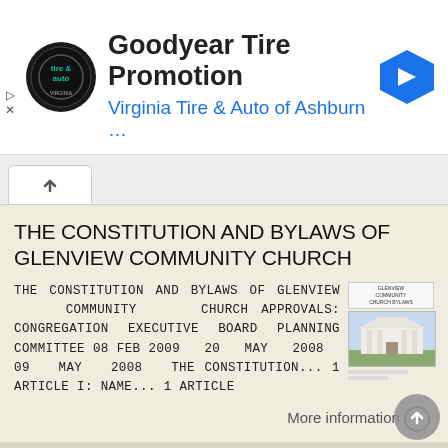[Figure (logo): Goodyear Tire Promotion ad banner with Virginia Tire & Auto logo, text and navigation arrow icon]
THE CONSTITUTION AND BYLAWS OF GLENVIEW COMMUNITY CHURCH
THE CONSTITUTION AND BYLAWS OF GLENVIEW COMMUNITY CHURCH APPROVALS: CONGREGATION EXECUTIVE BOARD PLANNING COMMITTEE 08 FEB 2009 20 MAY 2008 09 MAY 2008 THE CONSTITUTION... 1 ARTICLE I: NAME... 1 ARTICLE
More information →
Bylaws and Rules of Order of the First Baptist Church of Rockport, Massachusetts